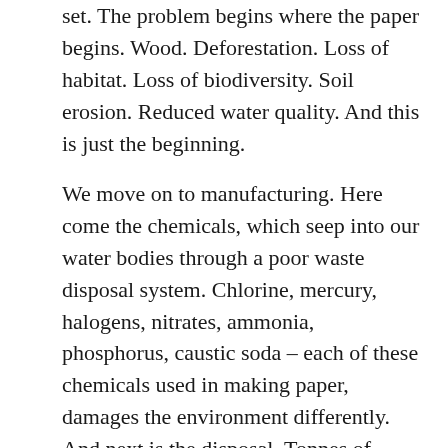set. The problem begins where the paper begins. Wood. Deforestation. Loss of habitat. Loss of biodiversity. Soil erosion. Reduced water quality. And this is just the beginning.
We move on to manufacturing. Here come the chemicals, which seep into our water bodies through a poor waste disposal system. Chlorine, mercury, halogens, nitrates, ammonia, phosphorus, caustic soda – each of these chemicals used in making paper, damages the environment differently. And next is the disposal. Tonnes of paper make it to landfills every day and when they decompose, they release methane – one of the major greenhouse gases.